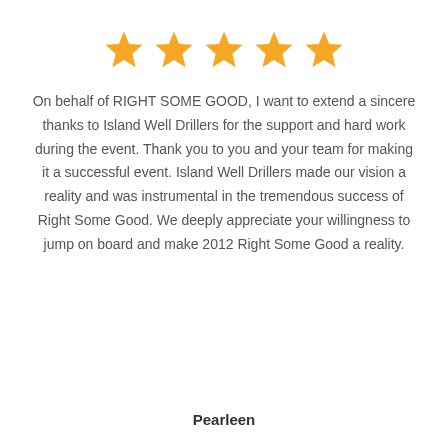[Figure (other): Five orange filled stars in a row representing a 5-star rating]
On behalf of RIGHT SOME GOOD, I want to extend a sincere thanks to Island Well Drillers for the support and hard work during the event. Thank you to you and your team for making it a successful event. Island Well Drillers made our vision a reality and was instrumental in the tremendous success of Right Some Good. We deeply appreciate your willingness to jump on board and make 2012 Right Some Good a reality.
Pearleen